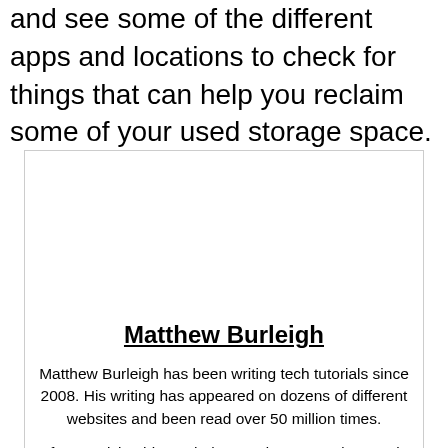and see some of the different apps and locations to check for things that can help you reclaim some of your used storage space.
[Figure (other): Author profile card for Matthew Burleigh with photo placeholder area at top]
Matthew Burleigh
Matthew Burleigh has been writing tech tutorials since 2008. His writing has appeared on dozens of different websites and been read over 50 million times.
After receiving his Bachelor’s and Master’s degrees in Computer Science he spent several years working in IT management for small businesses. However, he now works full time writing content online and